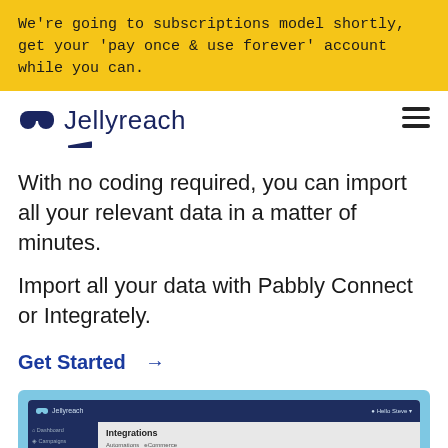We're going to subscriptions model shortly, get your 'pay once & use forever' account while you can.
[Figure (logo): Jellyreach logo with arch icon and brand name in dark blue, with a dark blue wedge underline accent]
With no coding required, you can import all your relevant data in a matter of minutes.
Import all your data with Pabbly Connect or Integrately.
Get Started →
[Figure (screenshot): Partial screenshot of Jellyreach app dashboard showing Integrations page with Automations and eCommerce tabs in a dark sidebar and light gray content area]